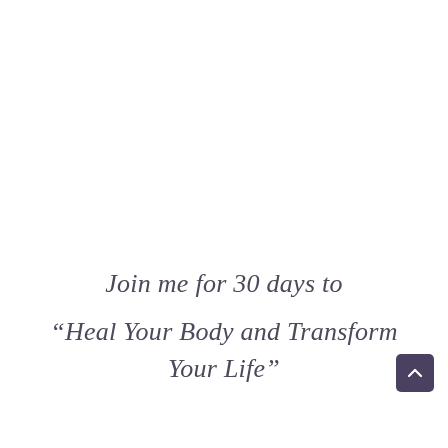Join me for 30 days to
“Heal Your Body and Transform Your Life”